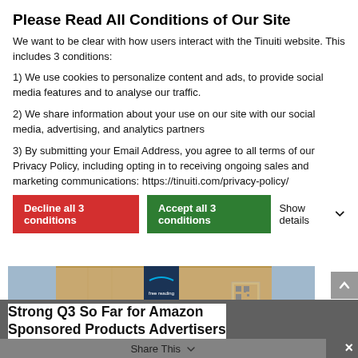Please Read All Conditions of Our Site
We want to be clear with how users interact with the Tinuiti website. This includes 3 conditions:
1) We use cookies to personalize content and ads, to provide social media features and to analyse our traffic.
2) We share information about your use on our site with our social media, advertising, and analytics partners
3) By submitting your Email Address, you agree to all terms of our Privacy Policy, including opting in to receiving ongoing sales and marketing communications: https://tinuiti.com/privacy-policy/
Decline all 3 conditions | Accept all 3 conditions | Show details
[Figure (photo): Amazon package/box with Amazon logo and Prime reading/listening branding visible on a dark blue strip]
Strong Q3 So Far for Amazon Sponsored Products Advertisers
Share This